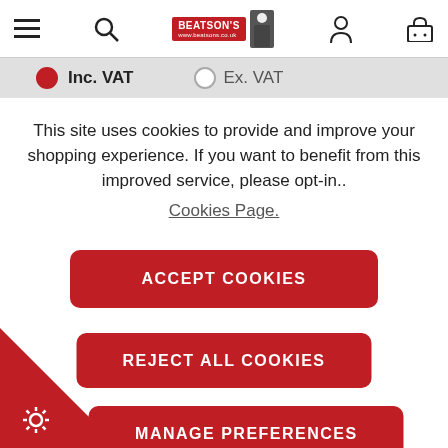Beatson's header navigation with menu, search, logo, account, and basket icons
Inc. VAT (selected) | Ex. VAT
This site uses cookies to provide and improve your shopping experience. If you want to benefit from this improved service, please opt-in.. Cookies Page.
ACCEPT COOKIES
REJECT ALL COOKIES
MANAGE PREFERENCES